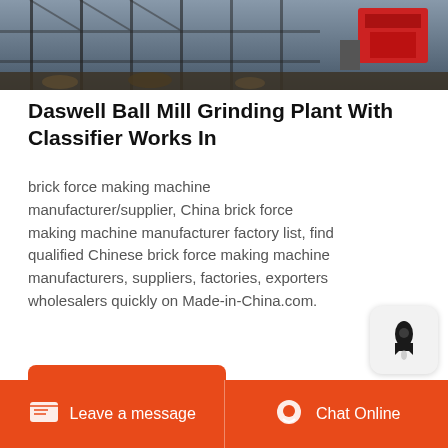[Figure (photo): Industrial ball mill grinding plant equipment with scaffolding and machinery on a construction site]
Daswell Ball Mill Grinding Plant With Classifier Works In
brick force making machine manufacturer/supplier, China brick force making machine manufacturer factory list, find qualified Chinese brick force making machine manufacturers, suppliers, factories, exporters wholesalers quickly on Made-in-China.com.
[Figure (illustration): Rocket/launch icon widget button with dark rocket silhouette on light gray rounded square background]
[Figure (photo): Second photo showing blue sky and mountain or industrial structure in background]
Leave a message   Chat Online